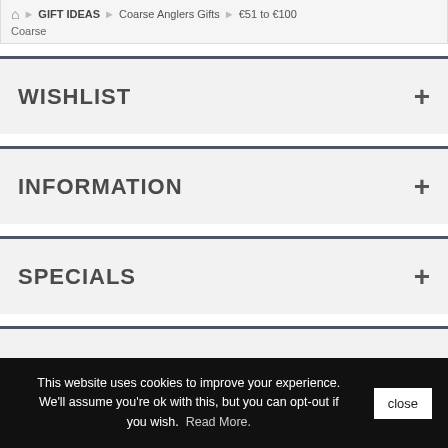🏠 > GIFT IDEAS > Coarse Anglers Gifts > €51 to €100 Coarse
WISHLIST
INFORMATION
SPECIALS
OUR STORES
This website uses cookies to improve your experience. We'll assume you're ok with this, but you can opt-out if you wish.  Read More.